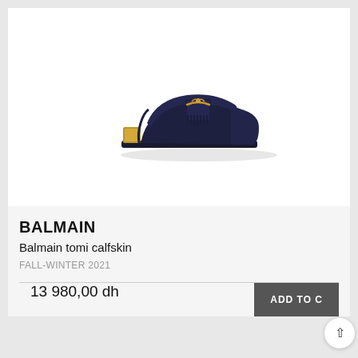[Figure (photo): Dark navy blue Balmain tomi calfskin loafer shoe with gold chain ornament on the front strap and gold heel detail, photographed from the side on a white background.]
BALMAIN
Balmain tomi calfskin
FALL-WINTER 2021
13 980,00 dh
ADD TO CART